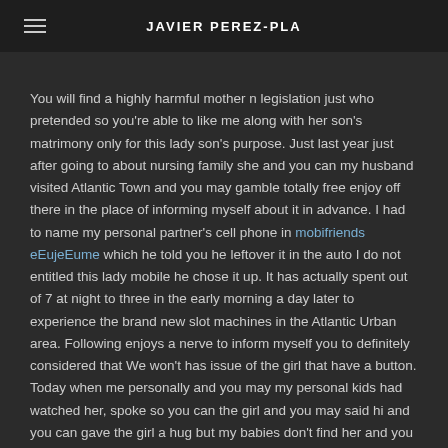JAVIER PEREZ-PLA
You will find a highly harmful mother n legislation just who pretended so you're able to like me along with her son's matrimony only for this lady son's purpose. Just last year just after going to about nursing family she and you can my husband visited Atlantic Town and you may gamble totally free enjoy off there in the place of informing myself about it in advance. I had to name my personal partner's cell phone in mobifriends eEujeEume which he told you he leftover it in the auto I do not entitled this lady mobile he chose it up. It has actually spent out of 7 at night to three in the early morning a day later to experience the brand new slot machines in the Atlantic Urban area. Following enjoys a nerve to inform myself you to definitely considered that We won't has issue of the girl that have a button. Today when me personally and you may my personal kids had watched her, spoke so you can the girl and you may said hi and you can gave the girl a hug but my babies don't find her and you can informed him or her which they don't chat. I told them to com and she mentioned the